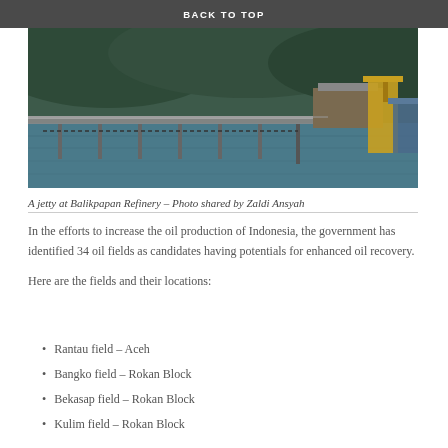BACK TO TOP
[Figure (photo): A jetty at Balikpapan Refinery showing a long pier extending over water with an industrial structure at the end. The background shows green hills.]
A jetty at Balikpapan Refinery – Photo shared by Zaldi Ansyah
In the efforts to increase the oil production of Indonesia, the government has identified 34 oil fields as candidates having potentials for enhanced oil recovery.
Here are the fields and their locations:
Rantau field – Aceh
Bangko field – Rokan Block
Bekasap field – Rokan Block
Kulim field – Rokan Block